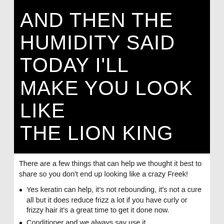[Figure (illustration): Black background image with large white uppercase sans-serif text reading: AND THEN THE HUMIDITY SAID TODAY I'LL MAKE YOU LOOK LIKE THE LION KING]
There are a few things that can help we thought it best to share so you don't end up looking like a crazy Freek!
Yes keratin can help, it's not rebounding, it's not a cure all but it does reduce frizz a lot if you have curly or frizzy hair it's a great time to get it done now.
Conditioner and we always say use it